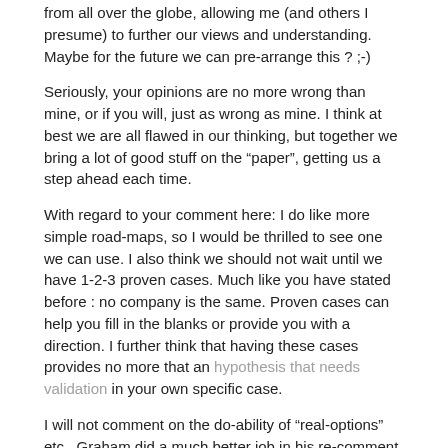from all over the globe, allowing me (and others I presume) to further our views and understanding. Maybe for the future we can pre-arrange this ? ;-)
Seriously, your opinions are no more wrong than mine, or if you will, just as wrong as mine. I think at best we are all flawed in our thinking, but together we bring a lot of good stuff on the “paper”, getting us a step ahead each time.
With regard to your comment here: I do like more simple road-maps, so I would be thrilled to see one we can use. I also think we should not wait until we have 1-2-3 proven cases. Much like you have stated before : no company is the same. Proven cases can help you fill in the blanks or provide you with a direction. I further think that having these cases provides no more that an hypothesis that needs validation in your own specific case.
I will not comment on the do-ability of “real-options” etc.. Graham did a much better job in his re-comment than I could ever have done.